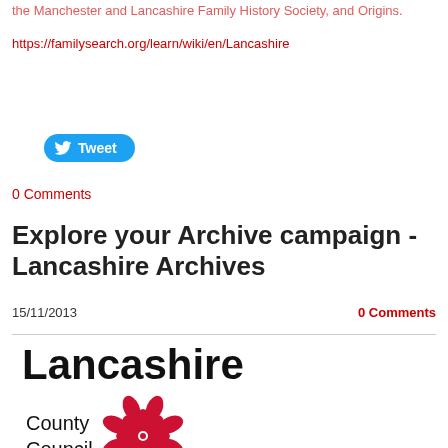the Manchester and Lancashire Family History Society, and Origins.
https://familysearch.org/learn/wiki/en/Lancashire
[Figure (other): Twitter Tweet button - blue pill-shaped button with Twitter bird icon and 'Tweet' text in white]
0 Comments
Explore your Archive campaign - Lancashire Archives
15/11/2013
0 Comments
[Figure (logo): Lancashire County Council logo - bold black text 'Lancashire County Council' with a red rose emblem]